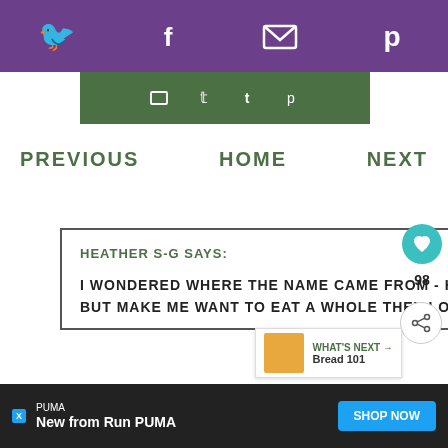[Figure (screenshot): Purple top navigation bar with white social media icons: Twitter bird, Facebook f, email envelope, Pinterest p]
[Figure (screenshot): Dark green share bar with white social icons: Facebook, Twitter, Tumblr, Pinterest]
PREVIOUS   HOME   NEXT
HEATHER S-G SAYS:
I WONDERED WHERE THE NAME CAME FROM - HOW COOL! I HAVEN'T TRIED WATERFORD BLAA BEFORE, BUT MAKE ME WANT TO EAT A WHOLE THEY LOOK INCREDIBLE! THESE WOULD
98
WHAT'S NEXT → Bread 101
[Figure (screenshot): Advertisement bar: PUMA brand, New from Run PUMA text, SHOP NOW blue button]